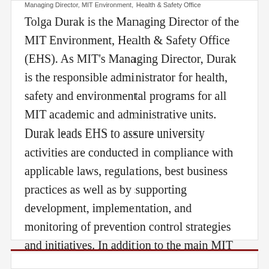Managing Director, MIT Environment, Health & Safety Office
Tolga Durak is the Managing Director of the MIT Environment, Health & Safety Office (EHS). As MIT's Managing Director, Durak is the responsible administrator for health, safety and environmental programs for all MIT academic and administrative units. Durak leads EHS to assure university activities are conducted in compliance with applicable laws, regulations, best business practices as well as by supporting development, implementation, and monitoring of prevention control strategies and initiatives. In addition to the main MIT campus, EHS provides support for and oversight over all off-site and international departments, laboratories and research centers. Click for more...